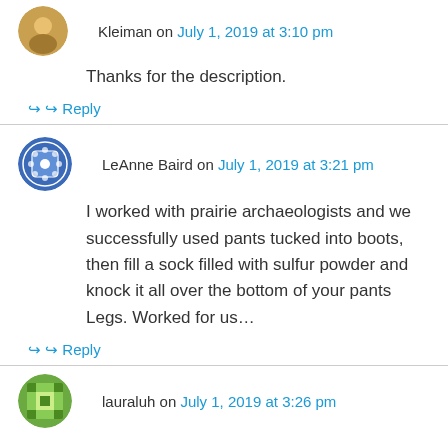Kleiman on July 1, 2019 at 3:10 pm
Thanks for the description.
↪ Reply
LeAnne Baird on July 1, 2019 at 3:21 pm
I worked with prairie archaeologists and we successfully used pants tucked into boots, then fill a sock filled with sulfur powder and knock it all over the bottom of your pants Legs. Worked for us…
↪ Reply
lauraluh on July 1, 2019 at 3:26 pm